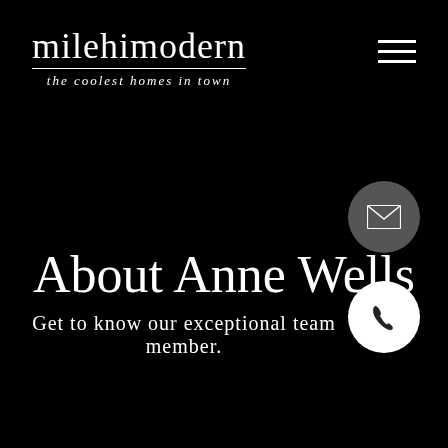[Figure (logo): milehimodern logo with wordmark and tagline 'the coolest homes in town']
[Figure (other): Hamburger menu icon (three horizontal white lines)]
About Anne Wells
Get to know our exceptional team member.
[Figure (other): Dark grey circle with white envelope/email icon]
[Figure (other): White circle with dark phone icon]